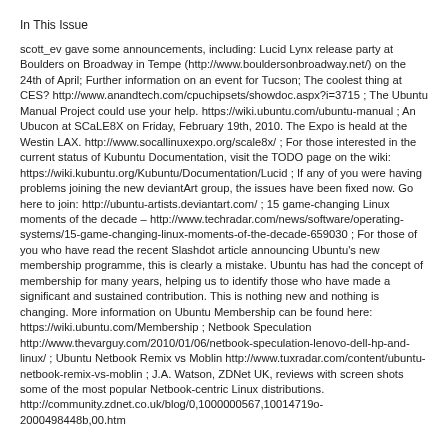In This Issue
scott_ev gave some announcements, including: Lucid Lynx release party at Boulders on Broadway in Tempe (http://www.bouldersonbroadway.net/) on the 24th of April; Further information on an event for Tucson; The coolest thing at CES? http://www.anandtech.com/cpuchipsets/showdoc.aspx?i=3715 ; The Ubuntu Manual Project could use your help. https://wiki.ubuntu.com/ubuntu-manual ; An Ubucon at SCaLE8X on Friday, February 19th, 2010. The Expo is heald at the Westin LAX. http://www.socallinuxexpo.org/scale8x/ ; For those interested in the current status of Kubuntu Documentation, visit the TODO page on the wiki: https://wiki.kubuntu.org/Kubuntu/Documentation/Lucid ; If any of you were having problems joining the new deviantArt group, the issues have been fixed now. Go here to join: http://ubuntu-artists.deviantart.com/ ; 15 game-changing Linux moments of the decade – http://www.techradar.com/news/software/operating-systems/15-game-changing-linux-moments-of-the-decade-659030 ; For those of you who have read the recent Slashdot article announcing Ubuntu's new membership programme, this is clearly a mistake. Ubuntu has had the concept of membership for many years, helping us to identify those who have made a significant and sustained contribution. This is nothing new and nothing is changing. More information on Ubuntu Membership can be found here: https://wiki.ubuntu.com/Membership ; Netbook Speculation http://www.thevarguy.com/2010/01/06/netbook-speculation-lenovo-dell-hp-and-linux/ ; Ubuntu Netbook Remix vs Moblin http://www.tuxradar.com/content/ubuntu-netbook-remix-vs-moblin ; J.A. Watson, ZDNet UK, reviews with screen shots some of the most popular Netbook-centric Linux distributions. http://community.zdnet.co.uk/blog/0,1000000567,10014719o-2000498448b,00.htm